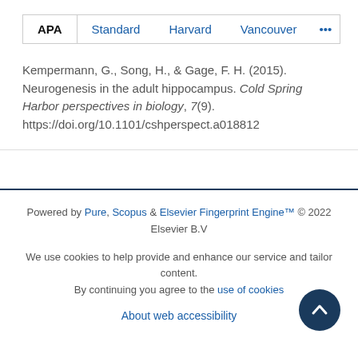APA  Standard  Harvard  Vancouver  ...
Kempermann, G., Song, H., & Gage, F. H. (2015). Neurogenesis in the adult hippocampus. Cold Spring Harbor perspectives in biology, 7(9). https://doi.org/10.1101/cshperspect.a018812
Powered by Pure, Scopus & Elsevier Fingerprint Engine™ © 2022 Elsevier B.V

We use cookies to help provide and enhance our service and tailor content. By continuing you agree to the use of cookies

About web accessibility